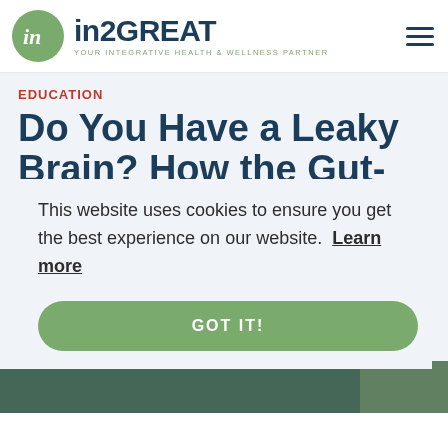[Figure (logo): in2GREAT logo: green circle with cursive 'in' monogram, followed by 'in2GREAT' brand name and tagline 'YOUR INTEGRATIVE HEALTH & WELLNESS PARTNER']
EDUCATION
Do You Have a Leaky Brain? How the Gut-Brain Connection
This website uses cookies to ensure you get the best experience on our website. Learn more
GOT IT!
[Figure (photo): Partial nature/outdoor photo visible at bottom right corner]